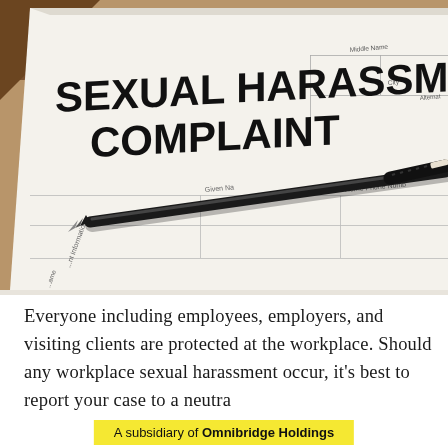[Figure (photo): Close-up photograph of a Sexual Harassment Complaint form with a black pen resting on top of it. The form title 'SEXUAL HARASSMENT COMPLAINT' is visible in large bold text. Form fields are partially visible beneath the pen.]
Everyone including employees, employers, and visiting clients are protected at the workplace. Should any workplace sexual harassment occur, it's best to report your case to a neutra
A subsidiary of Omnibridge Holdings